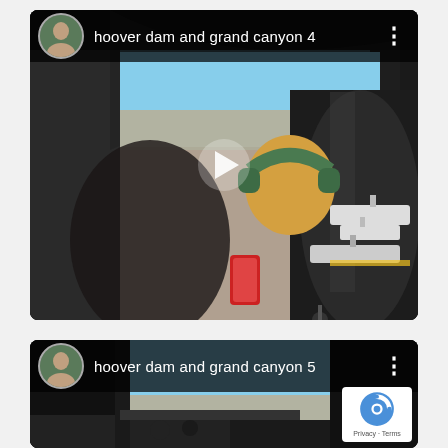[Figure (screenshot): Video thumbnail showing inside of helicopter cockpit with a woman wearing green headphones looking at a phone, aircraft visible at airport on the right, titled 'hoover dam and grand canyon 4' with a play button overlay]
[Figure (screenshot): Video thumbnail showing inside of helicopter cockpit with desert landscape visible, titled 'hoover dam and grand canyon 5', with reCAPTCHA badge in bottom right corner]